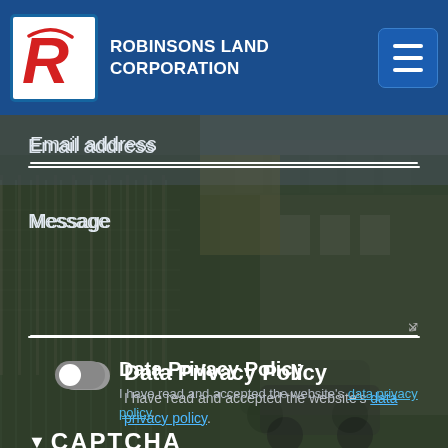[Figure (screenshot): Robinsons Land Corporation website contact form screenshot with logo header, email/message fields, data privacy and terms of use toggles, and CAPTCHA section]
ROBINSONS LAND CORPORATION
Email address
Message
Data Privacy Policy
I have read and accepted the website's data privacy policy.
Terms of use
I have read and accepted the website's terms of use.
CAPTCHA